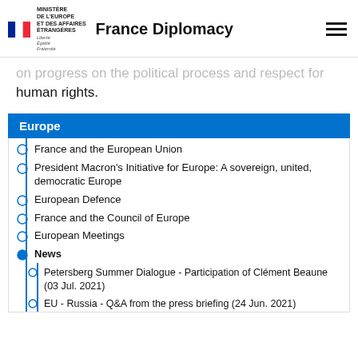MINISTÈRE DE L'EUROPE ET DES AFFAIRES ÉTRANGÈRES — France Diplomacy
on progress on the political process and respect for human rights.
Europe
France and the European Union
President Macron's Initiative for Europe: A sovereign, united, democratic Europe
European Defence
France and the Council of Europe
European Meetings
News
Petersberg Summer Dialogue - Participation of Clément Beaune (03 Jul. 2021)
EU - Russia - Q&A from the press briefing (24 Jun. 2021)